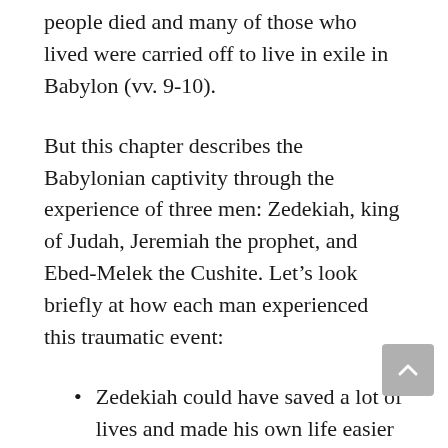people died and many of those who lived were carried off to live in exile in Babylon (vv. 9-10).
But this chapter describes the Babylonian captivity through the experience of three men: Zedekiah, king of Judah, Jeremiah the prophet, and Ebed-Melek the Cushite. Let's look briefly at how each man experienced this traumatic event:
Zedekiah could have saved a lot of lives and made his own life easier had he surrendered to the Babylonians as Jeremiah told him to do in 38:17-18. He did not surrender, however, and here in